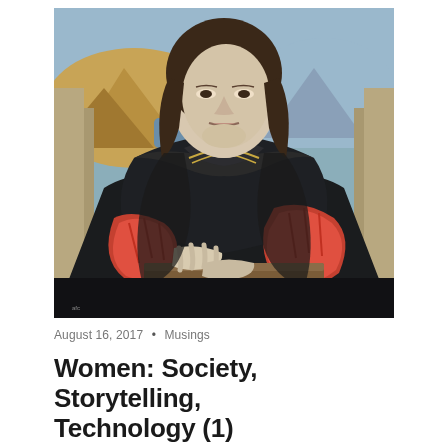[Figure (illustration): A painting in the style of the Mona Lisa, showing a woman seated with hands crossed, wearing a dark robe with red sleeves, against a landscape background with mountains and water.]
August 16, 2017 • Musings
Women: Society, Storytelling, Technology (1)